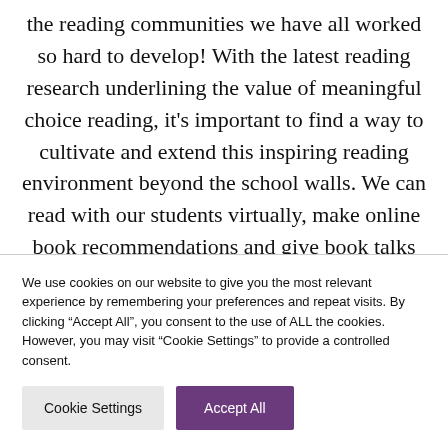the reading communities we have all worked so hard to develop! With the latest reading research underlining the value of meaningful choice reading, it's important to find a way to cultivate and extend this inspiring reading environment beyond the school walls. We can read with our students virtually, make online book recommendations and give book talks via
We use cookies on our website to give you the most relevant experience by remembering your preferences and repeat visits. By clicking "Accept All", you consent to the use of ALL the cookies. However, you may visit "Cookie Settings" to provide a controlled consent.